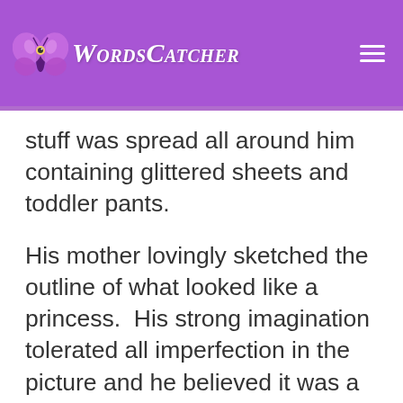WordsCatcher
stuff was spread all around him containing glittered sheets and toddler pants.
His mother lovingly sketched the outline of what looked like a princess.  His strong imagination tolerated all imperfection in the picture and he believed it was a princess despite its rough edges and disappointing drawing.